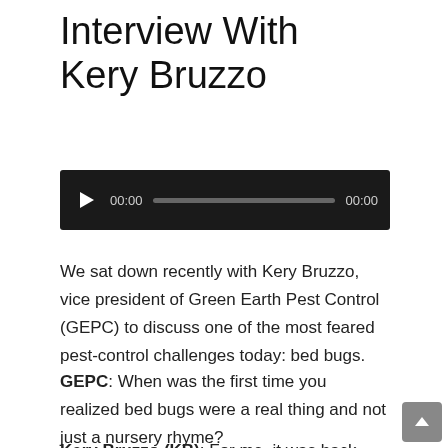Interview With Kery Bruzzo
[Figure (screenshot): Audio player widget with black background, play button, time display showing 00:00, progress bar, and total time 00:00]
We sat down recently with Kery Bruzzo,  vice president of Green Earth Pest Control (GEPC) to discuss one of the most feared pest-control challenges today: bed bugs.
GEPC: When was the first time you realized bed bugs were a real thing and not just a nursery rhyme?
Kery Bruzzo (KB): For me, it was back